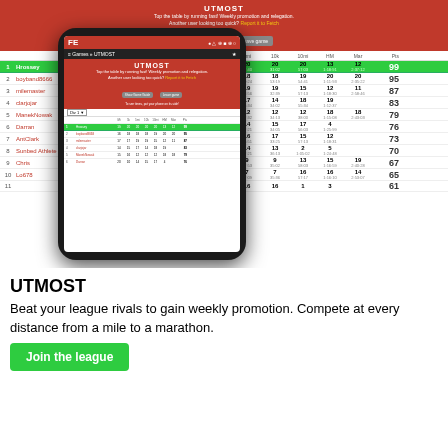[Figure (screenshot): Screenshot of UTMOST running league table app shown on desktop and mobile phone overlay. App header is red with title UTMOST, subtitle text, yellow link, and two gray buttons. League table shows ranked runners with columns Mi, 5k, 5mi, 10k, 10mi, HM, Mar, Pts. Row 1 (Hrossey) highlighted green with pts 99, rows 2-11 showing various runners and times.]
UTMOST
Beat your league rivals to gain weekly promotion. Compete at every distance from a mile to a marathon.
Join the league